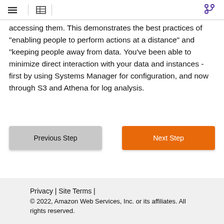≡ | ⊞ | (git icon)
accessing them. This demonstrates the best practices of "enabling people to perform actions at a distance" and "keeping people away from data. You've been able to minimize direct interaction with your data and instances - first by using Systems Manager for configuration, and now through S3 and Athena for log analysis.
Previous Step | Next Step
Privacy | Site Terms |
© 2022, Amazon Web Services, Inc. or its affiliates. All rights reserved.